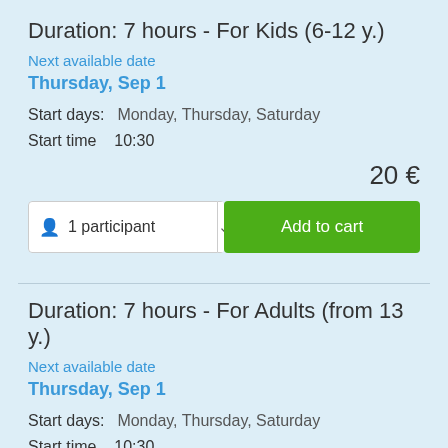Duration: 7 hours - For Kids (6-12 y.)
Next available date
Thursday, Sep 1
Start days:  Monday, Thursday, Saturday
Start time    10:30
20 €
1 participant  Add to cart
Duration: 7 hours - For Adults (from 13 y.)
Next available date
Thursday, Sep 1
Start days:  Monday, Thursday, Saturday
Start time    10:30